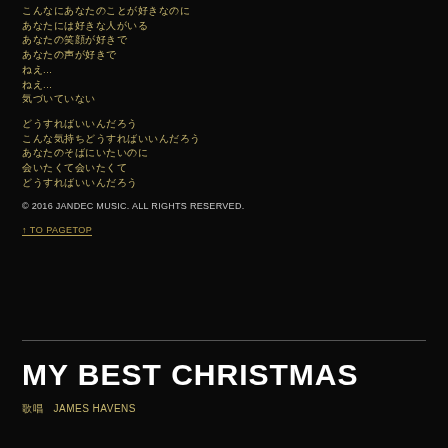こんなにあなたのことが好きなのに
あなたには好きな人がいる
あなたの笑顔が好きで
あなたの声が好きで
ねえ...
ねえ...
気づいていない
どうすればいいんだろう
こんな気持ちどうすればいいんだろう
あなたのそばにいたいのに
会いたくて会いたくて
どうすればいいんだろう
© 2016 JANDEC MUSIC. ALL RIGHTS RESERVED.
↑ TO PAGETOP
MY BEST CHRISTMAS
歌唱　JAMES HAVENS